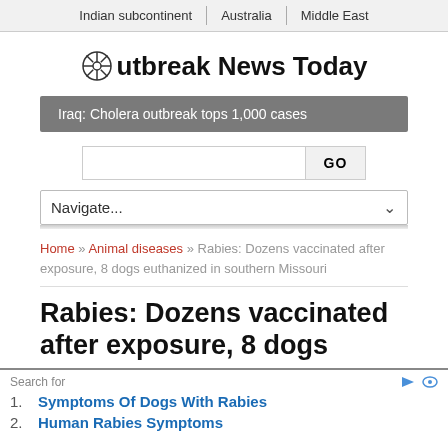Indian subcontinent | Australia | Middle East
Outbreak News Today
Iraq: Cholera outbreak tops 1,000 cases
Navigate...
Home » Animal diseases » Rabies: Dozens vaccinated after exposure, 8 dogs euthanized in southern Missouri
Rabies: Dozens vaccinated after exposure, 8 dogs
Search for
1. Symptoms Of Dogs With Rabies
2. Human Rabies Symptoms